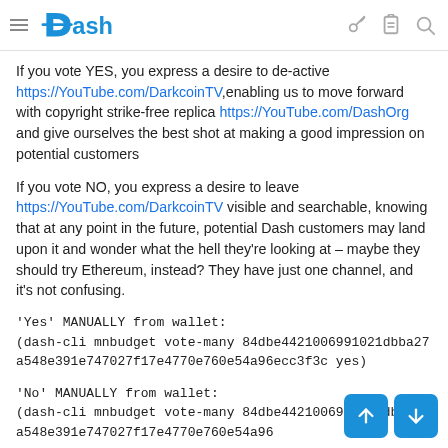Dash
If you vote YES, you express a desire to de-active https://YouTube.com/DarkcoinTV,enabling us to move forward with copyright strike-free replica https://YouTube.com/DashOrg and give ourselves the best shot at making a good impression on potential customers
If you vote NO, you express a desire to leave https://YouTube.com/DarkcoinTV visible and searchable, knowing that at any point in the future, potential Dash customers may land upon it and wonder what the hell they're looking at – maybe they should try Ethereum, instead? They have just one channel, and it's not confusing.
'Yes' MANUALLY from wallet:
(dash-cli mnbudget vote-many 84dbe4421006991021dbba27a548e391e747027f17e4770e760e54a96ecc3f3c yes)
'No' MANUALLY from wallet:
(dash-cli mnbudget vote-many 84dbe4421006991021dbba27a548e391e747027f17e4770e760e54a96ecc3f3c no)